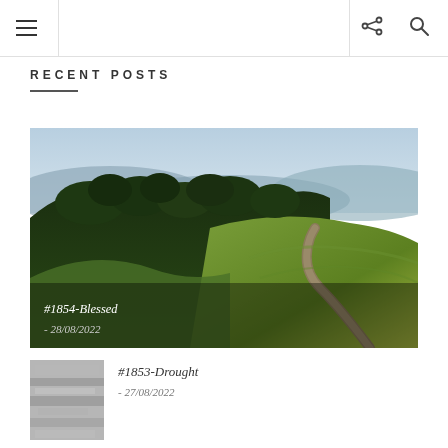Navigation bar with hamburger menu, share icon, and search icon
RECENT POSTS
[Figure (photo): Aerial landscape photo showing rolling green hills with a winding dirt road, dense forest of tall evergreen trees, and a valley with mountains in the background under a cloudy sky. Overlay text reads: #1854-Blessed - 28/08/2022]
#1854-Blessed - 28/08/2022
[Figure (photo): Small thumbnail image showing a grayscale/abstract texture, associated with post #1853-Drought dated 27/08/2022]
#1853-Drought - 27/08/2022